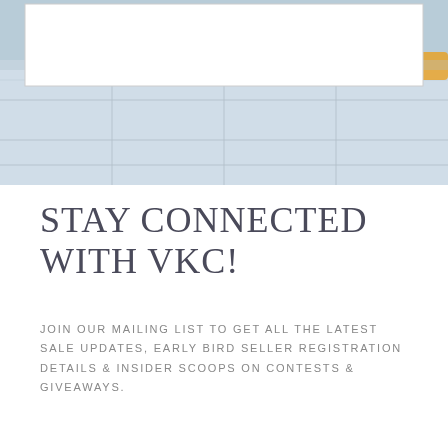[Figure (photo): Photograph of a light blue tiled floor surface with colored objects visible at top edges; a white rectangular box/form overlay appears at top of the image]
STAY CONNECTED WITH VKC!
JOIN OUR MAILING LIST TO GET ALL THE LATEST SALE UPDATES, EARLY BIRD SELLER REGISTRATION DETAILS & INSIDER SCOOPS ON CONTESTS & GIVEAWAYS.